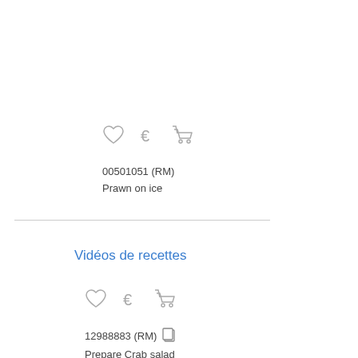[Figure (other): Row of icons: heart, euro sign, shopping cart]
00501051 (RM)
Prawn on ice
Vidéos de recettes
[Figure (other): Row of icons: heart, euro sign, shopping cart]
12988883 (RM)
Prepare Crab salad